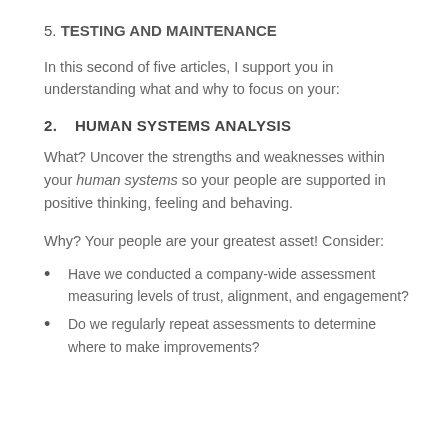5. TESTING AND MAINTENANCE
In this second of five articles, I support you in understanding what and why to focus on your:
2.    HUMAN SYSTEMS ANALYSIS
What? Uncover the strengths and weaknesses within your human systems so your people are supported in positive thinking, feeling and behaving.
Why? Your people are your greatest asset! Consider:
Have we conducted a company-wide assessment measuring levels of trust, alignment, and engagement?
Do we regularly repeat assessments to determine where to make improvements?